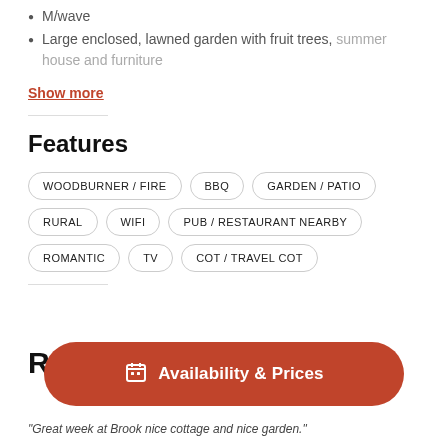M/wave
Large enclosed, lawned garden with fruit trees, summer house and furniture
Show more
Features
WOODBURNER / FIRE
BBQ
GARDEN / PATIO
RURAL
WIFI
PUB / RESTAURANT NEARBY
ROMANTIC
TV
COT / TRAVEL COT
R
Availability & Prices
"Great week at Brook nice cottage and nice garden."